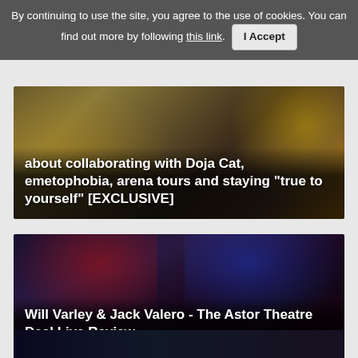By continuing to use the site, you agree to the use of cookies. You can find out more by following this link.  I Accept
[Figure (photo): Article thumbnail showing two women, one in a leopard print outfit and one in yellow, with white bold text overlay about collaborating with Doja Cat, emetophobia, arena tours and staying "true to yourself" [EXCLUSIVE]]
[Figure (photo): Article thumbnail showing a person with red and blue highlighted hair performing on stage, with white bold text overlay: Will Varley & Jack Valero - The Astor Theatre Deal Live Review]
[Figure (photo): Partial article thumbnail at bottom of page showing a dark performance/concert scene]